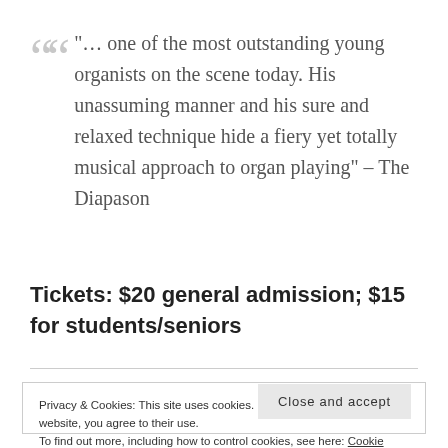"… one of the most outstanding young organists on the scene today. His unassuming manner and his sure and relaxed technique hide a fiery yet totally musical approach to organ playing" – The Diapason
Tickets: $20 general admission; $15 for students/seniors
Privacy & Cookies: This site uses cookies. By continuing to use this website, you agree to their use.
To find out more, including how to control cookies, see here: Cookie Policy